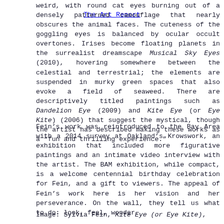The Art Report
weird, with round cat eyes burning out of a densely patterned camouflage that nearly obscures the animal faces. The cuteness of the goggling eyes is balanced by ocular occult overtones. Irises become floating planets in the surrealist dreamscape Musical Sky Eyes (2010), hovering somewhere between the celestial and terrestrial; the elements are suspended in murky green spaces that also evoke a field of seaweed. There are descriptively titled paintings such as Dandelion Eye (2009) and Kite Eye (or Eye Kite) (2006) that suggest the mystical, though the artist has described making these works as a “fun and thrilling experience.”
Fein’s work was reintroduced to the Bay Area with a 2014 survey at Oakland’s Krowswork, an exhibition that included more figurative paintings and an intimate video interview with the artist. The BAM exhibition, while compact, is a welcome centennial birthday celebration for Fein, and a gift to viewers. The appeal of Fein’s work here is her vision and her perseverance. On the wall, they tell us what to do: look, feel, wonder.
Image: Sylvia Fein, Kite Eye (or Eye Kite),